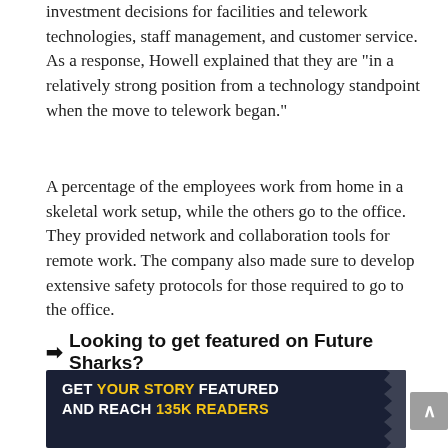investment decisions for facilities and telework technologies, staff management, and customer service. As a response, Howell explained that they are "in a relatively strong position from a technology standpoint when the move to telework began."
A percentage of the employees work from home in a skeletal work setup, while the others go to the office. They provided network and collaboration tools for remote work. The company also made sure to develop extensive safety protocols for those required to go to the office.
➡ Looking to get featured on Future Sharks?
[Figure (infographic): Dark navy banner advertisement with text: GET YOUR STORY FEATURED AND REACH 135K READERS in white and yellow bold uppercase letters. Has a zigzag white edge on the right side.]